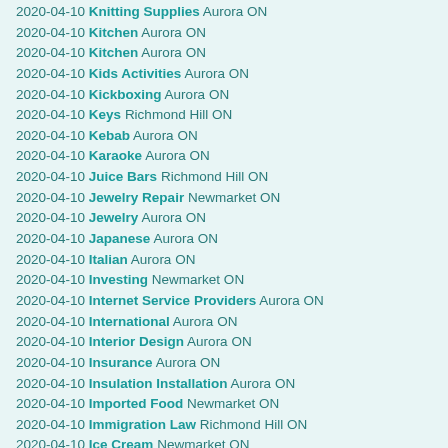2020-04-10 Knitting Supplies Aurora ON
2020-04-10 Kitchen Aurora ON
2020-04-10 Kitchen Aurora ON
2020-04-10 Kids Activities Aurora ON
2020-04-10 Kickboxing Aurora ON
2020-04-10 Keys Richmond Hill ON
2020-04-10 Kebab Aurora ON
2020-04-10 Karaoke Aurora ON
2020-04-10 Juice Bars Richmond Hill ON
2020-04-10 Jewelry Repair Newmarket ON
2020-04-10 Jewelry Aurora ON
2020-04-10 Japanese Aurora ON
2020-04-10 Italian Aurora ON
2020-04-10 Investing Newmarket ON
2020-04-10 Internet Service Providers Aurora ON
2020-04-10 International Aurora ON
2020-04-10 Interior Design Aurora ON
2020-04-10 Insurance Aurora ON
2020-04-10 Insulation Installation Aurora ON
2020-04-10 Imported Food Newmarket ON
2020-04-10 Immigration Law Richmond Hill ON
2020-04-10 Ice Cream Newmarket ON